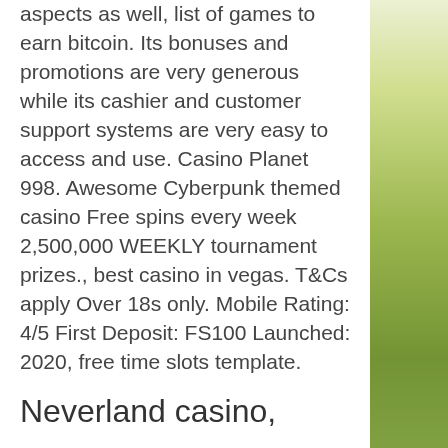aspects as well, list of games to earn bitcoin. Its bonuses and promotions are very generous while its cashier and customer support systems are very easy to access and use. Casino Planet 998. Awesome Cyberpunk themed casino Free spins every week 2,500,000 WEEKLY tournament prizes., best casino in vegas. T&Cs apply Over 18s only. Mobile Rating: 4/5 First Deposit: FS100 Launched: 2020, free time slots template.
Neverland casino, caesars slots
Casino expansion in Michigan has been going on few decades in casinos which has allowed other forms of gambling to considered for legalization and expansion. The sports betting is now legal (mobile betting as well as online casino sites are coming by 2021). Where can you play Blackjack and Roulette in Michigan? Our